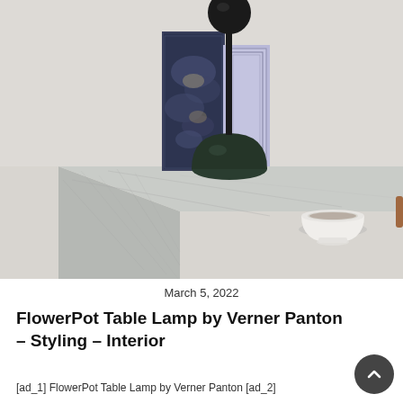[Figure (photo): Interior photo showing a marble console table or sideboard with a dark green FlowerPot table lamp (hemispheric base with thin rod and spherical top), books leaning against the wall, and a white ceramic bowl on a tan/brown wooden tray on the marble surface. Light grey neutral background.]
March 5, 2022
FlowerPot Table Lamp by Verner Panton – Styling – Interior
[ad_1] FlowerPot Table Lamp by Verner Panton [ad_2]